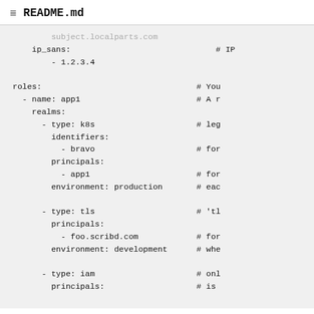README.md
ip_sans:                              # IP
    - 1.2.3.4

roles:                                # You
  - name: app1                        # A r
    realms:
      - type: k8s                     # leg
        identifiers:
          - bravo                     # for
        principals:
          - app1                      # for
        environment: production       # eac

      - type: tls                     # 'tl
        principals:
          - foo.scribd.com            # for
        environment: development      # whe

      - type: iam                     # onl
        principals:                   # is